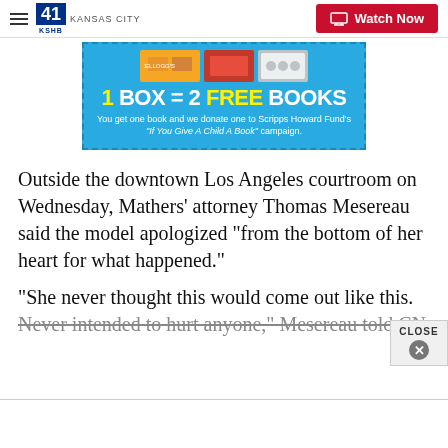41 KSHB KANSAS CITY | Watch Now
[Figure (infographic): Advertisement banner on light blue background with dashed border. Shows food product images at top. Large text reads '1 BOX = 2 FREE BOOKS'. Subtext: 'You get one book and we donate one to Scripps Howard Fund’s "If You Give A Child A Book" campaign.']
Outside the downtown Los Angeles courtroom on Wednesday, Mathers’ attorney Thomas Mesereau said the model apologized “from the bottom of her heart for what happened.”
“She never thought this would come out like this. Never intended to hurt anyone,” Mesereau told CN…